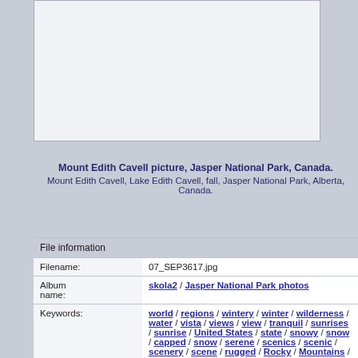[Figure (photo): Image placeholder — light gray box representing a photo of Mount Edith Cavell]
Mount Edith Cavell picture, Jasper National Park, Canada.
Mount Edith Cavell, Lake Edith Cavell, fall, Jasper National Park, Alberta, Canada.
| File information |  |
| Filename: | 07_SEP3617.jpg |
| Album name: | skola2 / Jasper National Park photos |
| Keywords: | world / regions / wintery / winter / wilderness / water / vista / views / view / tranquil / sunrises / sunrise / United States / state / snowy / snow / capped / snow / serene / scenics / scenic / scenery / scene / rugged / Rocky / Mountains / Rocky / |